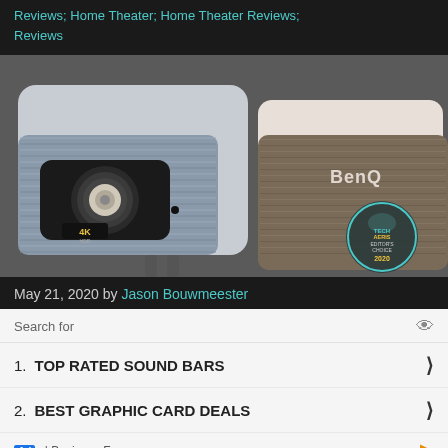Reviews; Home Theater; Home Theater Reviews; Reviews
[Figure (photo): Two BenQ 4K projectors side by side on a surface. Left projector shows '4K HDR' label on the lens area. Right projector shows BenQ branding. A Techaeris Editor's Choice 2020 badge is visible in the lower right corner.]
May 21, 2020 by Jason Bouwmeester
[Figure (infographic): Advertisement search panel. Search for: 1. TOP RATED SOUND BARS, 2. BEST GRAPHIC CARD DEALS. Ad | Business Focus]
1. TOP RATED SOUND BARS
2. BEST GRAPHIC CARD DEALS
Ad | Business Focus